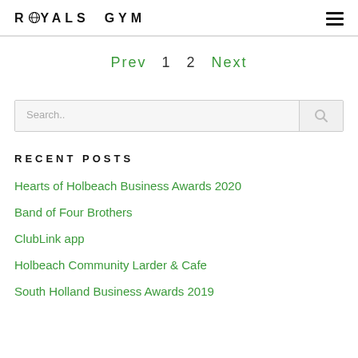ROYALS GYM
Prev 1 2 Next
Search..
RECENT POSTS
Hearts of Holbeach Business Awards 2020
Band of Four Brothers
ClubLink app
Holbeach Community Larder & Cafe
South Holland Business Awards 2019